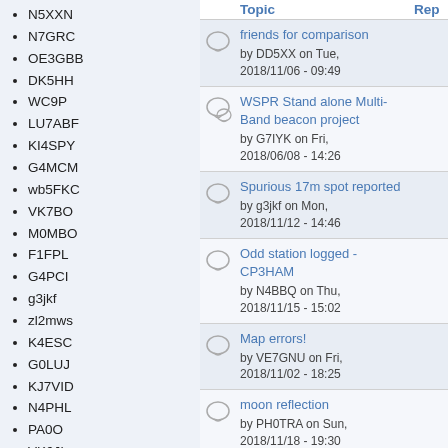N5XXN
N7GRC
OE3GBB
DK5HH
WC9P
LU7ABF
KI4SPY
G4MCM
wb5FKC
VK7BO
M0MBO
F1FPL
G4PCI
g3jkf
zl2mws
K4ESC
G0LUJ
KJ7VID
N4PHL
PA0O
VK6JI
SA6BSS
M7EPB
K9DID
AC0G
KC3FCQ
|  | Topic | Rep |
| --- | --- | --- |
| [icon] | friends for comparison
by DD5XX on Tue, 2018/11/06 - 09:49 |  |
| [icon] | WSPR Stand alone Multi-Band beacon project
by G7IYK on Fri, 2018/06/08 - 14:26 |  |
| [icon] | Spurious 17m spot reported
by g3jkf on Mon, 2018/11/12 - 14:46 |  |
| [icon] | Odd station logged - CP3HAM
by N4BBQ on Thu, 2018/11/15 - 15:02 |  |
| [icon] | Map errors!
by VE7GNU on Fri, 2018/11/02 - 18:25 |  |
| [icon] | moon reflection
by PH0TRA on Sun, 2018/11/18 - 19:30 |  |